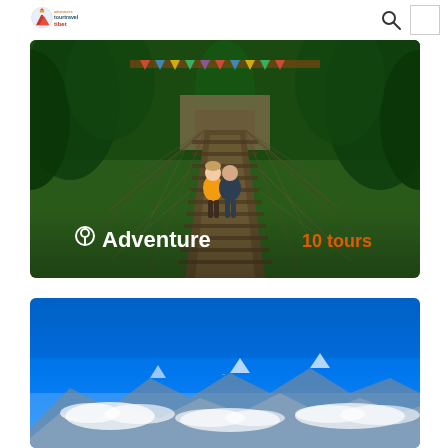[Figure (logo): Adventure Tour Travel Tibet logo with colorful mountain/temple icon and text]
[Figure (photo): Two tourists standing on a rope suspension bridge in a forested mountain area with prayer flags and greenery. Overlay text shows location pin icon with 'Adventure' and '10 tours' in orange.]
[Figure (photo): Bright blue sky panorama with white clouds near mountain horizon, likely a high-altitude Tibetan or Himalayan landscape.]